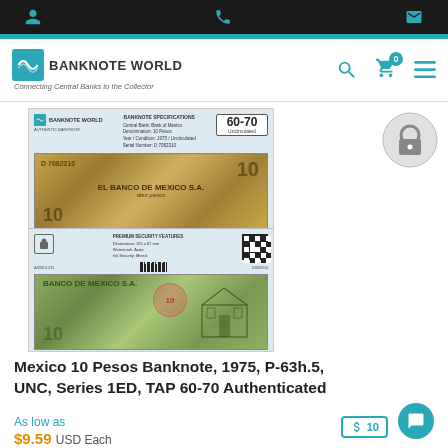Banknote World - Connecting Central Banks to the Collector
[Figure (photo): Mexico 10 Pesos banknote front and back, 1975, graded TAP 60-70 Uncirculated, shown in Banknote World authentication holder]
Mexico 10 Pesos Banknote, 1975, P-63h.5, UNC, Series 1ED, TAP 60-70 Authenticated
As low as
$9.59 USD Each